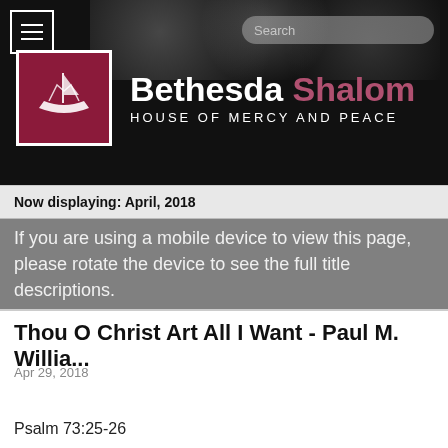[Figure (logo): Bethesda Shalom - House of Mercy and Peace logo with church/boat icon on dark banner header]
Now displaying: April, 2018
If you are using a mobile device to view this page, please rotate the device to see the full title descriptions.
Thou O Christ Art All I Want - Paul M. Willia...
Apr 29, 2018
Psalm 73:25-26